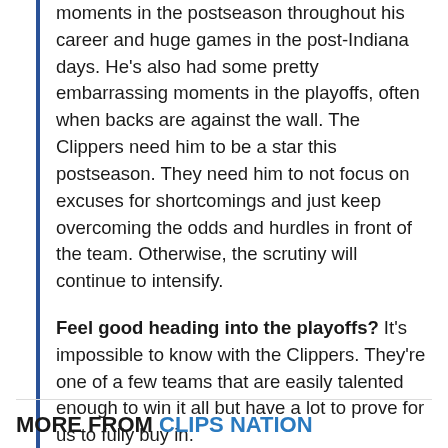moments in the postseason throughout his career and huge games in the post-Indiana days. He's also had some pretty embarrassing moments in the playoffs, often when backs are against the wall. The Clippers need him to be a star this postseason. They need him to not focus on excuses for shortcomings and just keep overcoming the odds and hurdles in front of the team. Otherwise, the scrutiny will continue to intensify.
Feel good heading into the playoffs? It's impossible to know with the Clippers. They're one of a few teams that are easily talented enough to win it all but have a lot to prove for us to fully buy in.
MORE FROM CLIPS NATION